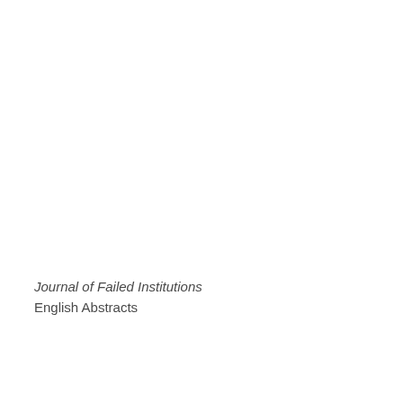Journal of Failed Institutions
English Abstracts